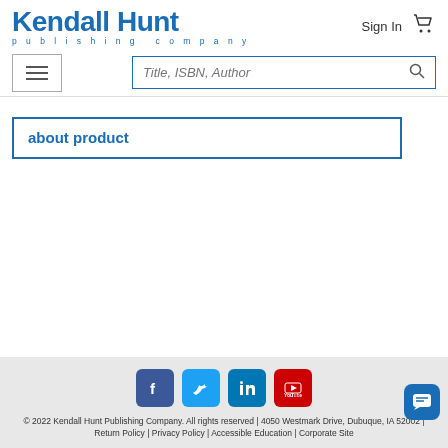[Figure (logo): Kendall Hunt Publishing Company logo in blue]
Sign In
[Figure (illustration): Shopping cart icon]
[Figure (illustration): Hamburger menu button]
Title, ISBN, Author
about product
[Figure (illustration): Social media icons: Facebook, Twitter, LinkedIn, YouTube]
© 2022 Kendall Hunt Publishing Company. All rights reserved | 4050 Westmark Drive, Dubuque, IA 52002 | Return Policy | Privacy Policy | Accessible Education | Corporate Site